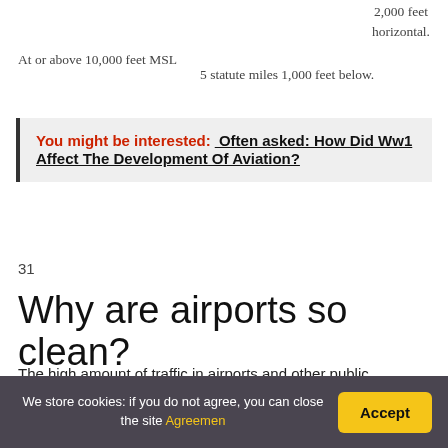2,000 feet horizontal.
At or above 10,000 feet MSL
5 statute miles 1,000 feet below.
You might be interested: Often asked: How Did Ww1 Affect The Development Of Aviation?
31
Why are airports so clean?
The high amount of traffic in airports and other public transportation buildings and complexes creates some unique cleaning challenges. Daily floor and restroom
We store cookies: if you do not agree, you can close the site Agreemen